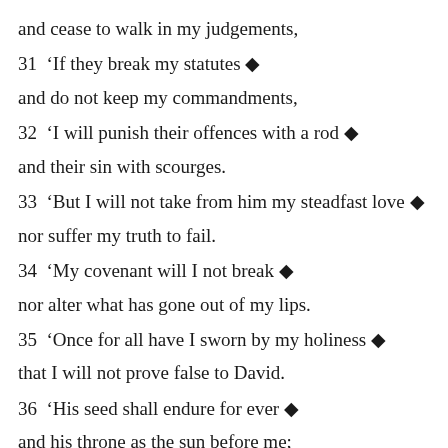and cease to walk in my judgements,
31  ‘If they break my statutes ◆
and do not keep my commandments,
32  ‘I will punish their offences with a rod ◆
and their sin with scourges.
33  ‘But I will not take from him my steadfast love ◆
nor suffer my truth to fail.
34  ‘My covenant will I not break ◆
nor alter what has gone out of my lips.
35  ‘Once for all have I sworn by my holiness ◆
that I will not prove false to David.
36  ‘His seed shall endure for ever ◆
and his throne as the sun before me;